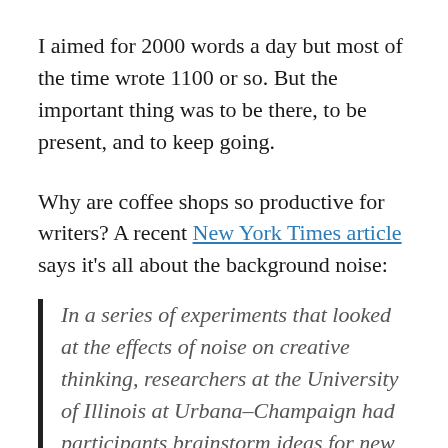I aimed for 2000 words a day but most of the time wrote 1100 or so. But the important thing was to be there, to be present, and to keep going.
Why are coffee shops so productive for writers? A recent New York Times article says it's all about the background noise:
In a series of experiments that looked at the effects of noise on creative thinking, researchers at the University of Illinois at Urbana–Champaign had participants brainstorm ideas for new products while they were exposed to